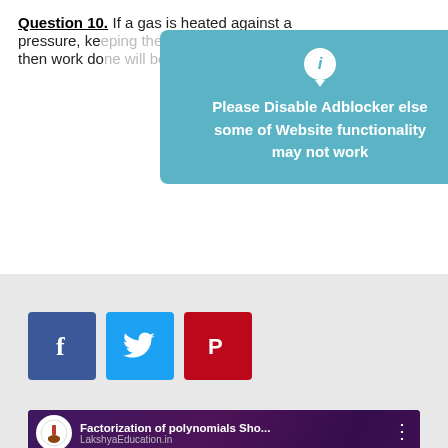Question 10. If a gas is heated against a pressure, keeping the volume constant, then work done will be equal to...
[Figure (screenshot): Adblocker notification overlay: teal rounded rectangle with info bubble icon and text 'Please Disable Adblocker else some of Website functionality may not work']
[Figure (infographic): Three social media share buttons: Facebook (dark blue), Twitter (light blue), Pinterest (red)]
[Figure (screenshot): YouTube video thumbnail for 'Factorization of polynomials Sho...' by LakshyaEducation.in, showing a man on purple background with 'SHORTCUT TE...S' text and YouTube play button]